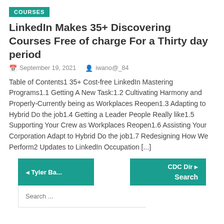COURSES
LinkedIn Makes 35+ Discovering Courses Free of charge For a Thirty day period
September 19, 2021   iwano@_84
Table of Contents1 35+ Cost-free LinkedIn Mastering Programs1.1 Getting A New Task:1.2 Cultivating Harmony and Properly-Currently being as Workplaces Reopen1.3 Adapting to Hybrid Do the job1.4 Getting a Leader People Really like1.5 Supporting Your Crew as Workplaces Reopen1.6 Assisting Your Corporation Adapt to Hybrid Do the job1.7 Redesigning How We Perform2 Updates to LinkedIn Occupation [...]
◄ Tyler Ba...   CDC Dir ► Search
Search ...
Recent Posts